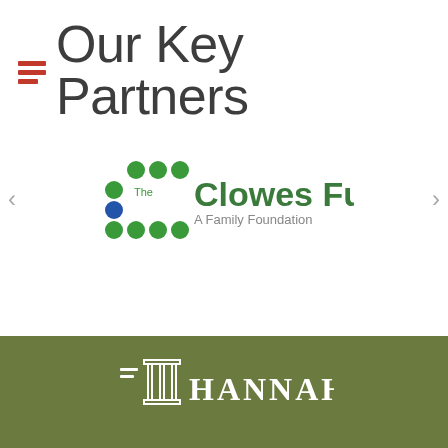Our Key Partners
[Figure (logo): The Clowes Fund - A Family Foundation logo with green and blue dots forming a C shape]
[Figure (logo): Hannah organization logo in white on olive/green background, with architectural column/building icon]